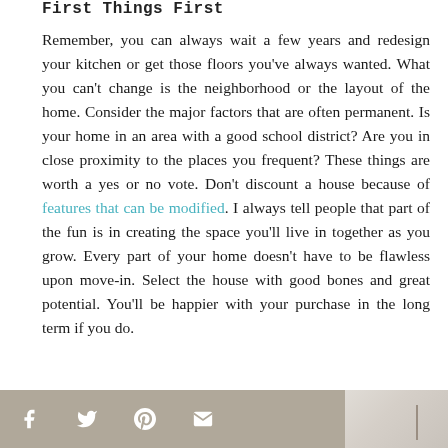First Things First
Remember, you can always wait a few years and redesign your kitchen or get those floors you've always wanted. What you can't change is the neighborhood or the layout of the home. Consider the major factors that are often permanent. Is your home in an area with a good school district? Are you in close proximity to the places you frequent? These things are worth a yes or no vote. Don't discount a house because of features that can be modified. I always tell people that part of the fun is in creating the space you'll live in together as you grow. Every part of your home doesn't have to be flawless upon move-in. Select the house with good bones and great potential. You'll be happier with your purchase in the long term if you do.
[Figure (other): Social sharing bar with Facebook, Twitter, Pinterest, and email icons on a tan/taupe background, with a partial room photo to the right]